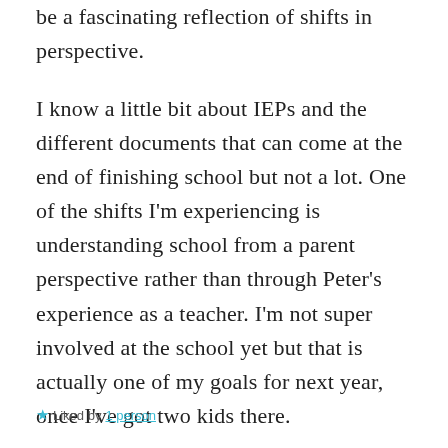be a fascinating reflection of shifts in perspective.
I know a little bit about IEPs and the different documents that can come at the end of finishing school but not a lot. One of the shifts I'm experiencing is understanding school from a parent perspective rather than through Peter's experience as a teacher. I'm not super involved at the school yet but that is actually one of my goals for next year, once I've got two kids there.
★ Liked by 1 person